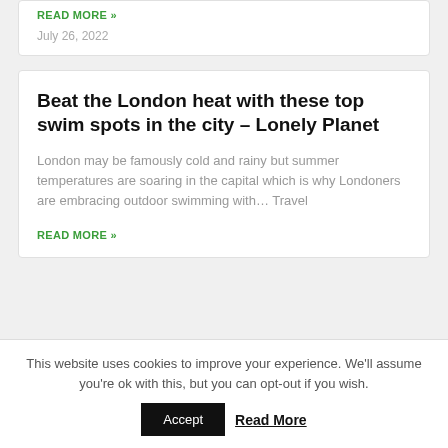READ MORE »
July 26, 2022
Beat the London heat with these top swim spots in the city – Lonely Planet
London may be famously cold and rainy but summer temperatures are soaring in the capital which is why Londoners are embracing outdoor swimming with… Travel
READ MORE »
This website uses cookies to improve your experience. We'll assume you're ok with this, but you can opt-out if you wish.
Accept    Read More